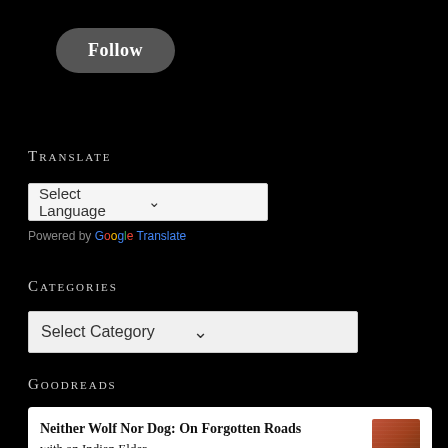Follow
Translate
Select Language
Powered by Google Translate
Categories
Select Category
Goodreads
Neither Wolf Nor Dog: On Forgotten Roads with an Indian Elder